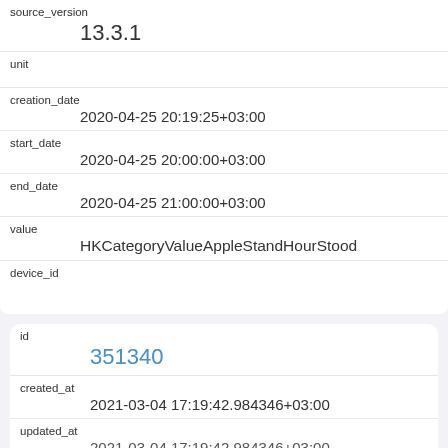| source_version | 13.3.1 |
| unit |  |
| creation_date | 2020-04-25 20:19:25+03:00 |
| start_date | 2020-04-25 20:00:00+03:00 |
| end_date | 2020-04-25 21:00:00+03:00 |
| value | HKCategoryValueAppleStandHourStood |
| device_id |  |
| id | 351340 |
| created_at | 2021-03-04 17:19:42.984346+03:00 |
| updated_at | 2021-03-04 17:19:42.984346+03:00 |